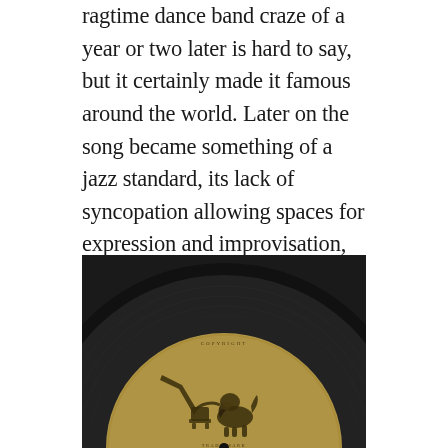ragtime dance band craze of a year or two later is hard to say, but it certainly made it famous around the world. Later on the song became something of a jazz standard, its lack of syncopation allowing spaces for expression and improvisation, and hit versions from Bessie Smith, Louis Armstrong, Bing Crosby, Ella Fitzgerald, Ray Charles, Judy Garland and many others would make it perhaps the song from this era which lived longest in creative and popular consciousness.
[Figure (photo): Close-up photograph of a vintage gramophone record label showing the iconic HMV (His Master's Voice) logo — a dog listening to a gramophone horn — on a dark (black) record with a golden/tan circular label in the center.]